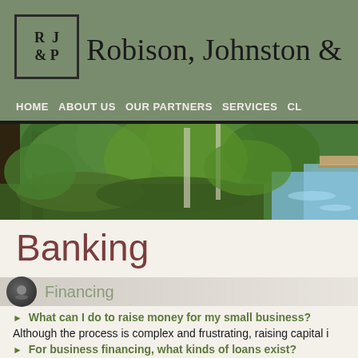[Figure (logo): RJ&P logo — square border with serif letters R, J, &, P arranged in 2x2 grid]
Robison, Johnston &
HOME   ABOUT US   OUR PARTNERS   SERVICES   CL
[Figure (photo): Forest with green trees, lush vegetation, and a stream or river on the right side with a wooden boardwalk]
Banking
Financing
What can I do to raise money for my small business?
Although the process is complex and frustrating, raising capital i
For business financing, what kinds of loans exist?